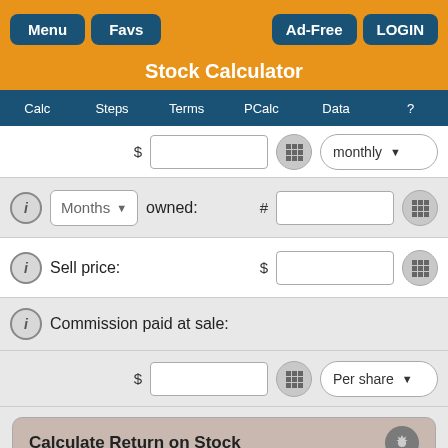Menu | Favs | Ad-Free | LOGIN
Stock Calculator
Calc | Steps | Terms | PCalc | Data | ?
$ [input] [grid] monthly [dropdown]
Months owned: # [input] [grid]
Sell price: $ [input] [grid]
Commission paid at sale:
$ [input] [grid] Per share [dropdown]
Calculate Return on Stock
Gross return:
Income return: